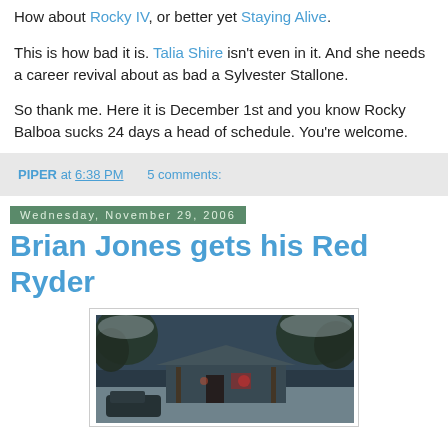Anybody remember some of his earlier directorial outings? How about Rocky IV, or better yet Staying Alive.
This is how bad it is. Talia Shire isn't even in it. And she needs a career revival about as bad a Sylvester Stallone.
So thank me. Here it is December 1st and you know Rocky Balboa sucks 24 days a head of schedule. You're welcome.
PIPER at 6:38 PM    5 comments:
Wednesday, November 29, 2006
Brian Jones gets his Red Ryder
[Figure (photo): A snowy outdoor scene showing a house or building with trees covered in snow and dark blue-green tones]